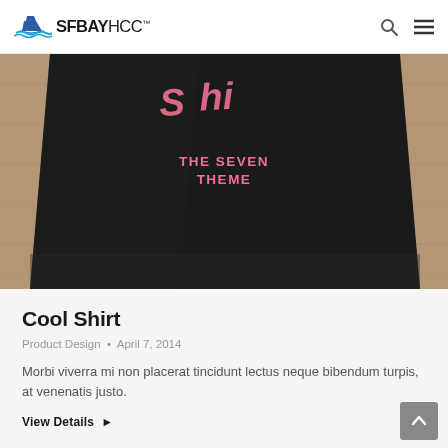SFBAYHCC
[Figure (photo): A black t-shirt laid flat on a wooden surface. The shirt has pink script lettering and text 'THE SEVEN THEME' printed on it.]
Cool Shirt
Product Design • April 7, 2014
Morbi viverra mi non placerat tincidunt lectus neque bibendum turpis, at venenatis justo.
View Details ▶